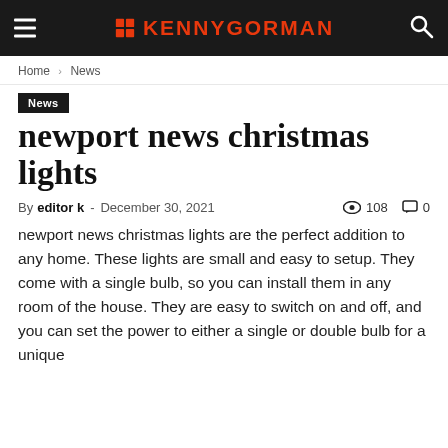KENNYGORMAN
Home › News
News
newport news christmas lights
By editor k - December 30, 2021   108   0
newport news christmas lights are the perfect addition to any home. These lights are small and easy to setup. They come with a single bulb, so you can install them in any room of the house. They are easy to switch on and off, and you can set the power to either a single or double bulb for a unique